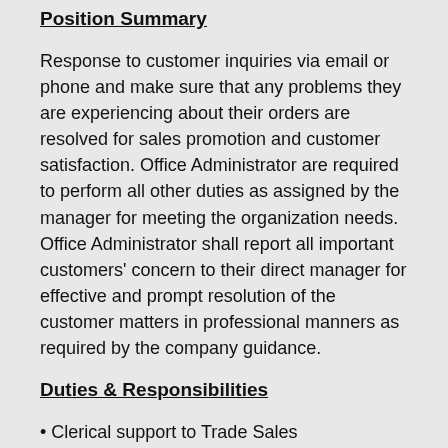Position Summary
Response to customer inquiries via email or phone and make sure that any problems they are experiencing about their orders are resolved for sales promotion and customer satisfaction. Office Administrator are required to perform all other duties as assigned by the manager for meeting the organization needs. Office Administrator shall report all important customers' concern to their direct manager for effective and prompt resolution of the customer matters in professional manners as required by the company guidance.
Duties & Responsibilities
• Clerical support to Trade Sales
• Website development & other IT matters